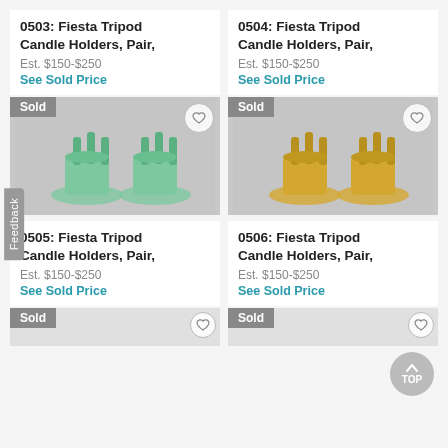0503: Fiesta Tripod Candle Holders, Pair,
Est. $150-$250
See Sold Price
[Figure (photo): Green glazed Fiesta tripod candle holders, pair, shown on gray background. Sold badge visible.]
0505: Fiesta Tripod Candle Holders, Pair,
Est. $150-$250
See Sold Price
0504: Fiesta Tripod Candle Holders, Pair,
Est. $150-$250
See Sold Price
[Figure (photo): Yellow/gold glazed Fiesta tripod candle holders, pair, shown on gray background. Sold badge visible.]
0506: Fiesta Tripod Candle Holders, Pair,
Est. $150-$250
See Sold Price